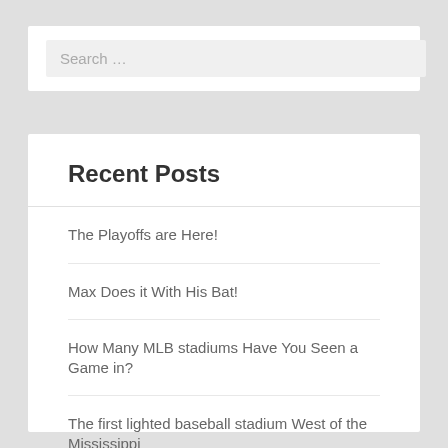Search …
Recent Posts
The Playoffs are Here!
Max Does it With His Bat!
How Many MLB stadiums Have You Seen a Game in?
The first lighted baseball stadium West of the Mississippi
Life Throws a Curveball at Jim Palmer